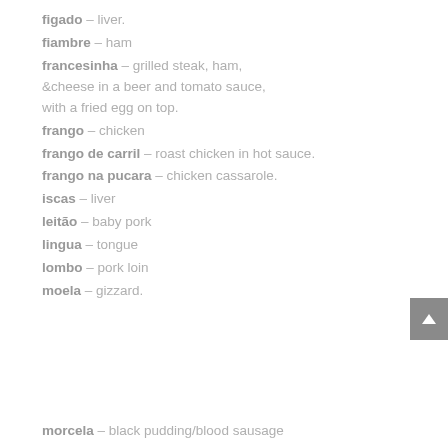figado – liver.
fiambre – ham
francesinha – grilled steak, ham, &cheese in a beer and tomato sauce, with a fried egg on top.
frango – chicken
frango de carril – roast chicken in hot sauce.
frango na pucara – chicken cassarole.
iscas – liver
leitão – baby pork
lingua – tongue
lombo – pork loin
moela – gizzard.
morcela – black pudding/blood sausage